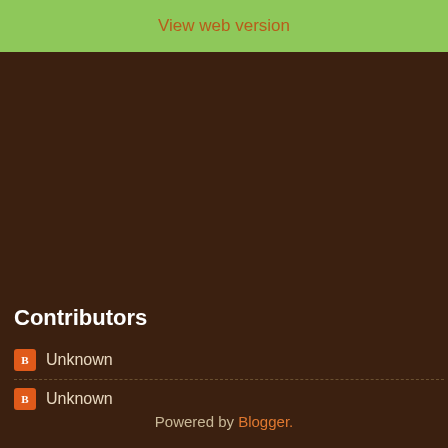View web version
Contributors
Unknown
Unknown
Powered by Blogger.